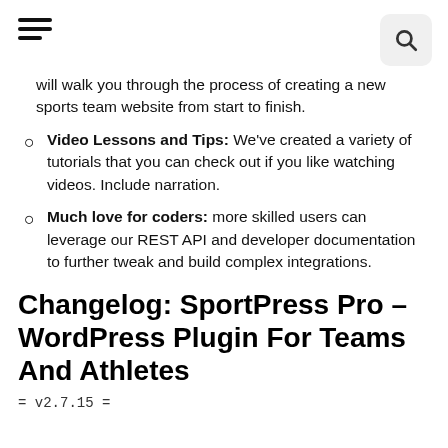[hamburger menu icon] [search icon]
will walk you through the process of creating a new sports team website from start to finish.
Video Lessons and Tips: We've created a variety of tutorials that you can check out if you like watching videos. Include narration.
Much love for coders: more skilled users can leverage our REST API and developer documentation to further tweak and build complex integrations.
Changelog: SportPress Pro – WordPress Plugin For Teams And Athletes
= v2.7.15 =